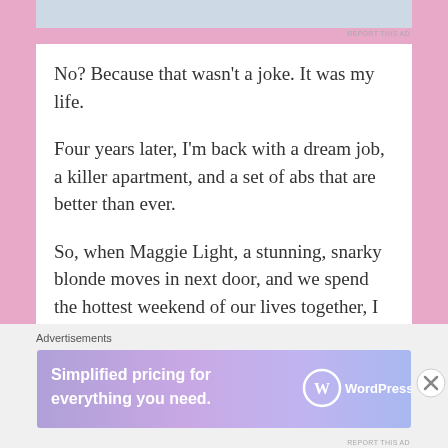[Figure (other): Top advertisement banner placeholder (light blue-gray rectangle)]
REPORT THIS AD
No? Because that wasn't a joke. It was my life.
Four years later, I'm back with a dream job, a killer apartment, and a set of abs that are better than ever.
So, when Maggie Light, a stunning, snarky blonde moves in next door, and we spend the hottest weekend of our lives together, I think this could be the greatest comeback story ever.
That is until I realize Maggie has moved to town to do one thing—steal my job.
Advertisements
[Figure (screenshot): WordPress.com advertisement banner reading 'Simplified pricing for everything you need.' with WordPress.com logo on gradient purple/lavender background]